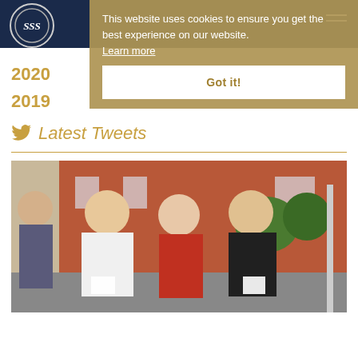SSS school logo navigation bar
This website uses cookies to ensure you get the best experience on our website. Learn more
Got it!
2020
2019
Latest Tweets
[Figure (photo): Three smiling female students holding papers, standing outside in front of a red brick building on a sunny day.]